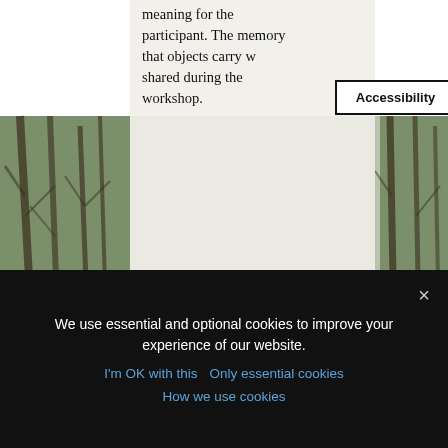meaning for the participant. The memory that objects carry w shared during the workshop.
[Figure (screenshot): Accessibility button UI element with bold label 'Accessibility' inside a white rectangle with black border]
[Figure (photo): Photo of natural objects: moss, dried leaves, a nail, and twigs arranged on a white surface — plant-lore and jewellery making workshop materials]
Plant-lore and Jewellery Making with Artist Julia
We use essential and optional cookies to improve your experience of our website.
I'm OK with this  Only essential cookies
How we use cookies